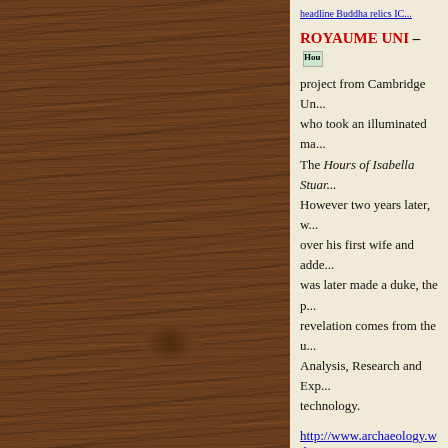[Figure (photo): Wood grain background texture in dark brown tones with vertical streaks and a knot visible]
headline Buddha relics IC...
ROYAUME UNI – [House icon image]
project from Cambridge Ur... who took an illuminated ma... The Hours of Isabella Stuar... However two years later, w... over his first wife and adde... was later made a duke, the p... revelation comes from the u... Analysis, Research and Exp... technology.
http://www.archaeology.wil... wedding-gift/